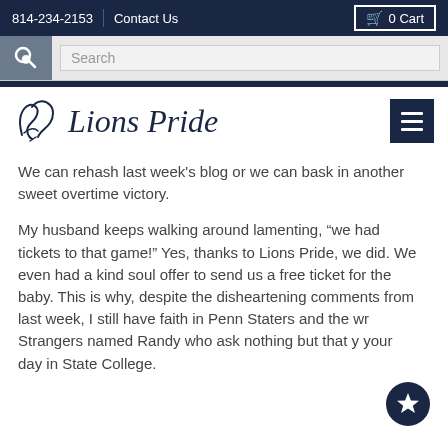814-234-2153  Contact Us  0 Cart
[Figure (screenshot): Search bar with magnifying glass icon and text input field showing 'Search' placeholder]
[Figure (logo): Lions Pride logo with stylized script lion symbol and serif italic text]
We can rehash last week’s blog or we can bask in another sweet overtime victory.
My husband keeps walking around lamenting, “we had tickets to that game!” Yes, thanks to Lions Pride, we did. We even had a kind soul offer to send us a free ticket for the baby. This is why, despite the disheartening comments from last week, I still have faith in Penn Staters and the wr Strangers named Randy who ask nothing but that y your day in State College.